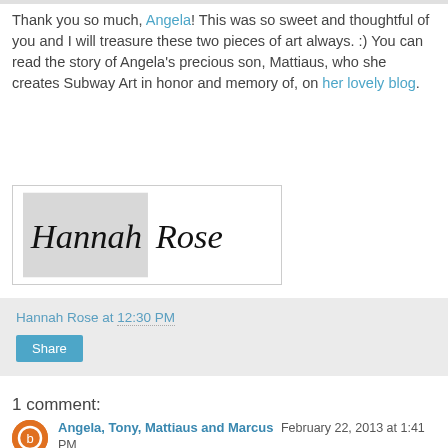Thank you so much, Angela! This was so sweet and thoughtful of you and I will treasure these two pieces of art always. :) You can read the story of Angela's precious son, Mattiaus, who she creates Subway Art in honor and memory of, on her lovely blog.
[Figure (illustration): Handwritten cursive signature reading 'Hannah Rose' in a box with gray-shaded background on the left portion]
Hannah Rose at 12:30 PM
Share
1 comment:
Angela, Tony, Mattiaus and Marcus February 22, 2013 at 1:41 PM
What a beautiful post, thank you for all your kind words! So